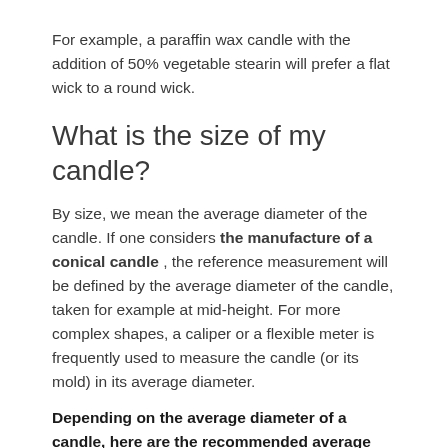For example, a paraffin wax candle with the addition of 50% vegetable stearin will prefer a flat wick to a round wick.
What is the size of my candle?
By size, we mean the average diameter of the candle. If one considers the manufacture of a conical candle , the reference measurement will be defined by the average diameter of the candle, taken for example at mid-height. For more complex shapes, a caliper or a flexible meter is frequently used to measure the candle (or its mold) in its average diameter.
Depending on the average diameter of a candle, here are the recommended average